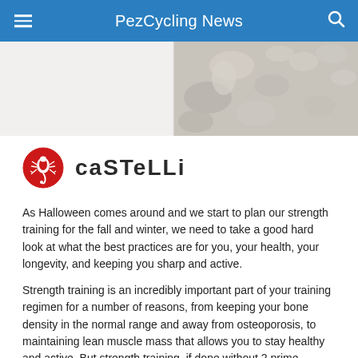PezCycling News
[Figure (photo): Close-up photo of a rocky or gravelly texture, appears to be stones or pebbles, black and white or muted tones.]
[Figure (logo): Castelli cycling brand logo: red circle with white scorpion icon on left, and CASTELLI wordmark in dark bold sans-serif on right.]
As Halloween comes around and we start to plan our strength training for the fall and winter, we need to take a good hard look at what the best practices are for you, your health, your longevity, and keeping you sharp and active.
Strength training is an incredibly important part of your training regimen for a number of reasons, from keeping your bone density in the normal range and away from osteoporosis, to maintaining lean muscle mass that allows you to stay healthy and active. But strength training, if done without 2 prime considerations, can also INCREASE your risk of injury.